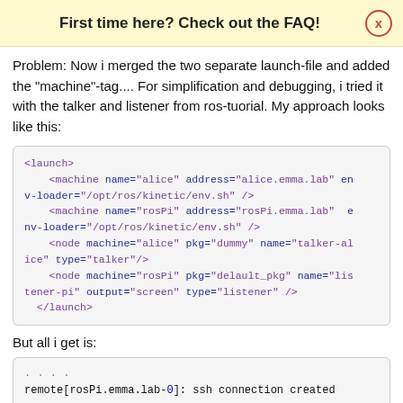First time here? Check out the FAQ!
Problem: Now i merged the two separate launch-file and added the "machine"-tag.... For simplification and debugging, i tried it with the talker and listener from ros-tuorial. My approach looks like this:
[Figure (screenshot): XML code block showing a ROS launch file with machine tags and node definitions]
But all i get is:
[Figure (screenshot): Terminal output showing: .... remote[rosPi.emma.lab-0]: ssh connection created .... MACHINES]